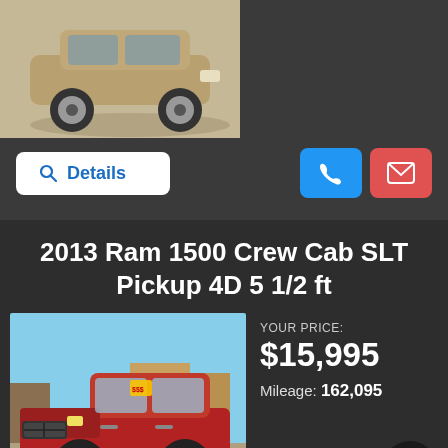[Figure (photo): Partial photo of a tan/gold colored SUV or crossover vehicle, showing the front quarter and wheel area on a concrete surface]
Details
2013 Ram 1500 Crew Cab SLT Pickup 4D 5 1/2 ft
YOUR PRICE:
$15,995
Mileage: 162,095
[Figure (photo): Red 2013 Ram 1500 Crew Cab pickup truck parked in a sunny parking lot with commercial buildings in background, yellow price sticker visible on windshield]